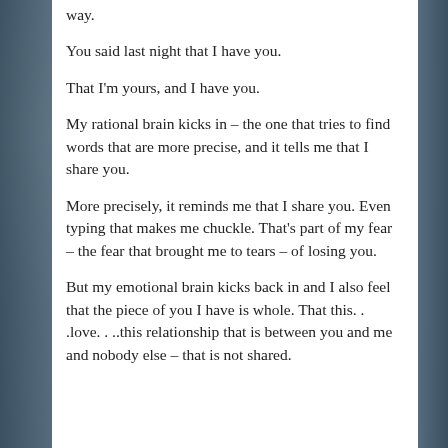way.
You said last night that I have you.
That I'm yours, and I have you.
My rational brain kicks in – the one that tries to find words that are more precise, and it tells me that I share you.
More precisely, it reminds me that I share you. Even typing that makes me chuckle. That's part of my fear – the fear that brought me to tears – of losing you.
But my emotional brain kicks back in and I also feel that the piece of you I have is whole. That this. . .love. . ..this relationship that is between you and me and nobody else – that is not shared.